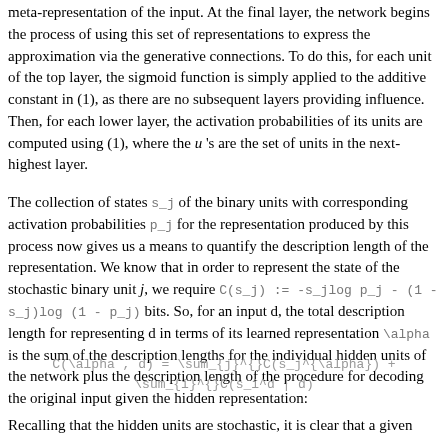meta-representation of the input. At the final layer, the network begins the process of using this set of representations to express the approximation via the generative connections. To do this, for each unit of the top layer, the sigmoid function is simply applied to the additive constant in (1), as there are no subsequent layers providing influence. Then, for each lower layer, the activation probabilities of its units are computed using (1), where the u 's are the set of units in the next-highest layer.
The collection of states s_j of the binary units with corresponding activation probabilities p_j for the representation produced by this process now gives us a means to quantify the description length of the representation. We know that in order to represent the state of the stochastic binary unit j, we require C(s_j) := -s_jlog p_j - (1 - s_j)log(1 - p_j) bits. So, for an input d, the total description length for representing d in terms of its learned representation \alpha is the sum of the description lengths for the individual hidden units of the network plus the description length of the procedure for decoding the original input given the hidden representation:
Recalling that the hidden units are stochastic, it is clear that a given